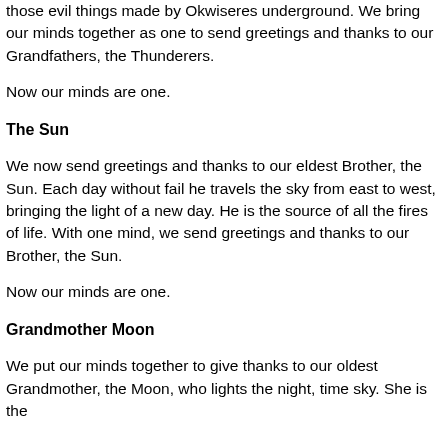those evil things made by Okwiseres underground. We bring our minds together as one to send greetings and thanks to our Grandfathers, the Thunderers.
Now our minds are one.
The Sun
We now send greetings and thanks to our eldest Brother, the Sun. Each day without fail he travels the sky from east to west, bringing the light of a new day. He is the source of all the fires of life. With one mind, we send greetings and thanks to our Brother, the Sun.
Now our minds are one.
Grandmother Moon
We put our minds together to give thanks to our oldest Grandmother, the Moon, who lights the night, time sky. She is the